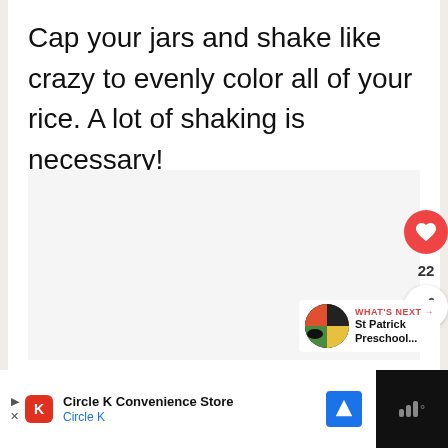Cap your jars and shake like crazy to evenly color all of your rice. A lot of shaking is necessary!
[Figure (photo): Blank/white image area placeholder]
22
WHAT'S NEXT → St Patrick Preschool...
Circle K Convenience Store
Circle K